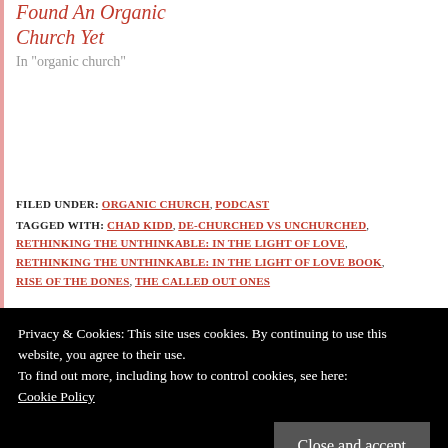Found An Organic Church Yet
In "organic church"
FILED UNDER: ORGANIC CHURCH, PODCAST
TAGGED WITH: CHAD KIDD, DE-CHURCHED VS UNCHURCHED, RETHINKING THE UNTHINKABLE: IN THE LIGHT OF LOVE, RETHINKING THE UNTHINKABLE: IN THE LIGHT OF LOVE BOOK, RISE OF THE DONES, THE CALLED OUT ONES
Privacy & Cookies: This site uses cookies. By continuing to use this website, you agree to their use. To find out more, including how to control cookies, see here: Cookie Policy
Close and accept
missionary to Peru